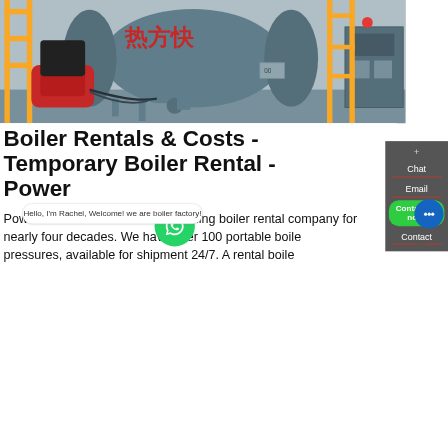[Figure (photo): Industrial boiler equipment in a facility, showing a large cylindrical gray boiler with Chinese characters, red burner unit, yellow piping and railings, and a control panel on the right.]
Boiler Rentals & Costs - Temporary Boiler Rental - Power
Power Mechanical has been a leading boiler rental company for nearly four decades. We have over 100 portable boilers at various pressures, available for shipment 24/7. A rental boiler
Chat
Email
Contact
Contact us now!
Hello, I'm Rachel, Welcome! we are boiler factory!